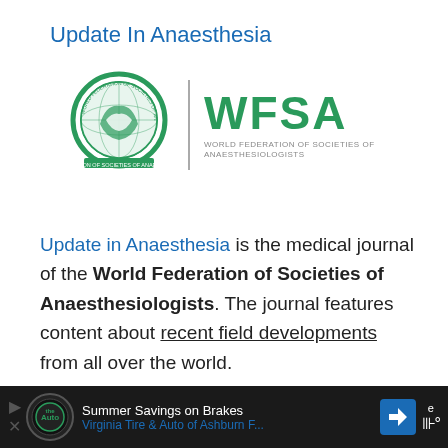Update In Anaesthesia
[Figure (logo): WFSA logo: green circular emblem with world map, vertical divider, WFSA text in green, subtitle 'World Federation of Societies of Anaesthesiologists']
Update in Anaesthesia is the medical journal of the World Federation of Societies of Anaesthesiologists. The journal features content about recent field developments from all over the world.
[Figure (other): Advertisement bar: Summer Savings on Brakes - Virginia Tire & Auto of Ashburn F...]